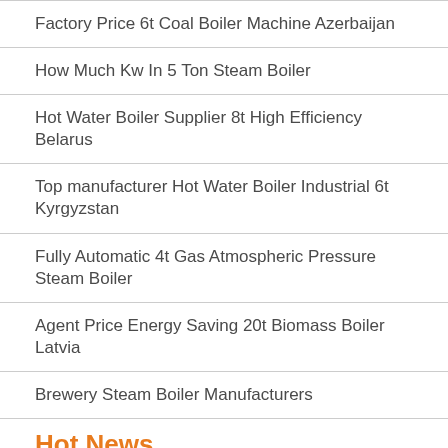Factory Price 6t Coal Boiler Machine Azerbaijan
How Much Kw In 5 Ton Steam Boiler
Hot Water Boiler Supplier 8t High Efficiency Belarus
Top manufacturer Hot Water Boiler Industrial 6t Kyrgyzstan
Fully Automatic 4t Gas Atmospheric Pressure Steam Boiler
Agent Price Energy Saving 20t Biomass Boiler Latvia
Brewery Steam Boiler Manufacturers
Hot News
1 Ton Gas Atmospheric Pressure Boiler Commercial Kyrgyzstan